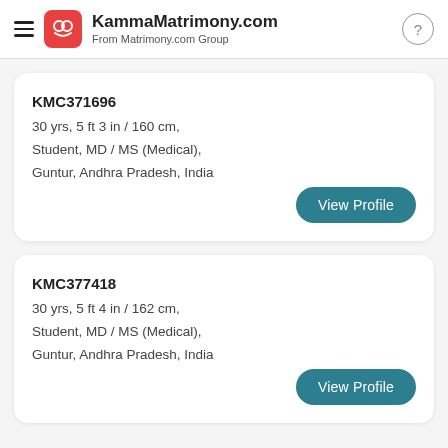KammaMatrimony.com From Matrimony.com Group
KMC371696
30 yrs, 5 ft 3 in / 160 cm,
Student, MD / MS (Medical),
Guntur, Andhra Pradesh, India
View Profile
KMC377418
30 yrs, 5 ft 4 in / 162 cm,
Student, MD / MS (Medical),
Guntur, Andhra Pradesh, India
View Profile